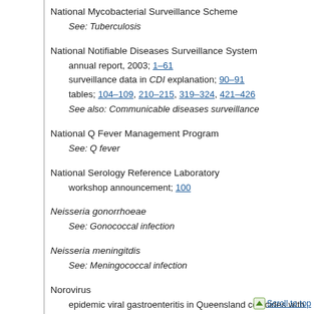National Mycobacterial Surveillance Scheme
See: Tuberculosis
National Notifiable Diseases Surveillance System
annual report, 2003; 1–61
surveillance data in CDI explanation; 90–91
tables; 104–109, 210–215, 319–324, 421–426
See also: Communicable diseases surveillance
National Q Fever Management Program
See: Q fever
National Serology Reference Laboratory
workshop announcement; 100
Neisseria gonorrhoeae
See: Gonococcal infection
Neisseria meningitdis
See: Meningococcal infection
Norovirus
epidemic viral gastroenteritis in Queensland coincides with the